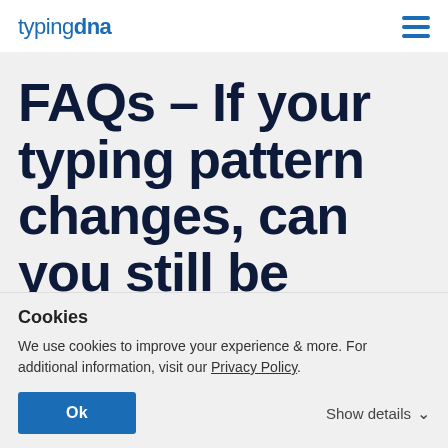typingdna
FAQs – If your typing pattern changes, can you still be authenticated?
Cookies
We use cookies to improve your experience & more. For additional information, visit our Privacy Policy.
Ok    Show details